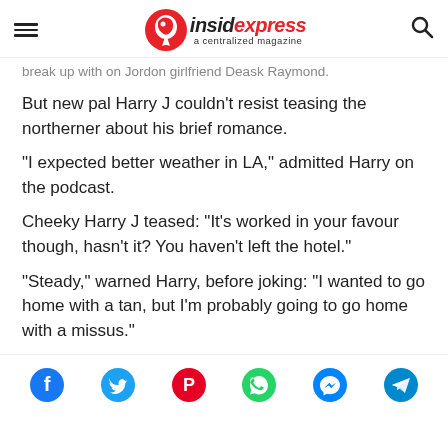insidexpress a centralized magazine
break up with on Jordon girlfriend Deask Raymond.
But new pal Harry J couldn't resist teasing the northerner about his brief romance.
"I expected better weather in LA," admitted Harry on the podcast.
Cheeky Harry J teased: “It's worked in your favour though, hasn't it? You haven't left the hotel."
"Steady," warned Harry, before joking: "I wanted to go home with a tan, but I'm probably going to go home with a missus."
[Figure (infographic): Social media share icons: Facebook, Twitter, Pinterest, WhatsApp, Messenger, Telegram]